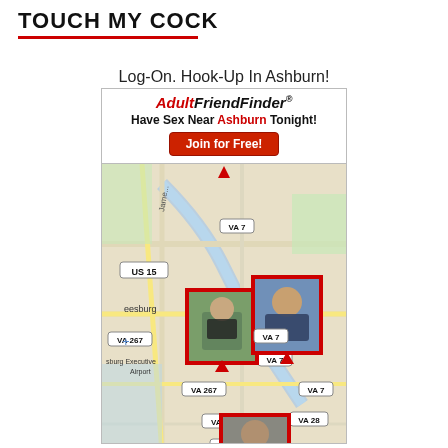TOUCH MY COCK
Log-On. Hook-Up In Ashburn!
[Figure (screenshot): AdultFriendFinder advertisement with text 'Have Sex Near Ashburn Tonight!' and a red 'Join for Free!' button, overlaid on a map of the Ashburn/Leesburg Virginia area showing road labels (US 15, VA 7, VA 267, VA 28) and profile photos of men pinned to map locations.]